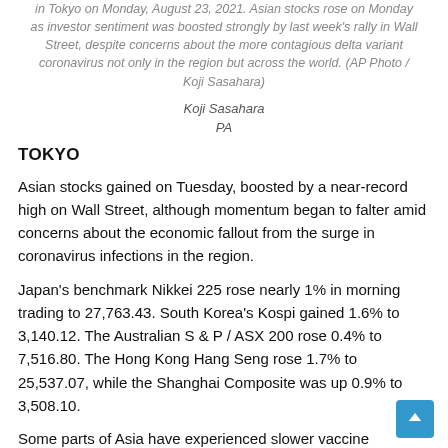in Tokyo on Monday, August 23, 2021. Asian stocks rose on Monday as investor sentiment was boosted strongly by last week's rally in Wall Street, despite concerns about the more contagious delta variant coronavirus not only in the region but across the world. (AP Photo / Koji Sasahara)
Koji Sasahara
PA
TOKYO
Asian stocks gained on Tuesday, boosted by a near-record high on Wall Street, although momentum began to falter amid concerns about the economic fallout from the surge in coronavirus infections in the region.
Japan's benchmark Nikkei 225 rose nearly 1% in morning trading to 27,763.43. South Korea's Kospi gained 1.6% to 3,140.12. The Australian S & P / ASX 200 rose 0.4% to 7,516.80. The Hong Kong Hang Seng rose 1.7% to 25,537.07, while the Shanghai Composite was up 0.9% to 3,508.10.
Some parts of Asia have experienced slower vaccine